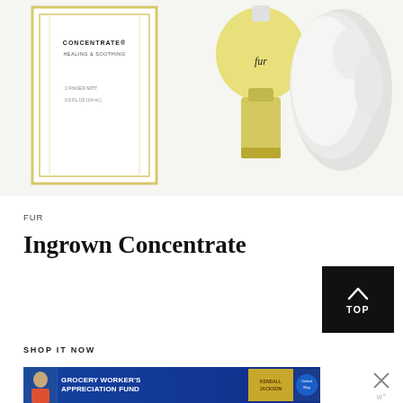[Figure (photo): Product photo of Fur Ingrown Concentrate kit showing a white box with gold border labelled CONCENTRATE HEALING & SOOTHING, 1 FINGER MITT 0.5 FL OZ (14 ml), a yellow glass bottle with black fur logo, and a white fluffy towel/mitt, on white background]
FUR
Ingrown Concentrate
SHOP IT NOW
[Figure (screenshot): Advertisement banner: GROCERY WORKER'S APPRECIATION FUND with Kendall-Jackson and United Way logos, shown as a blue banner with a grocery worker photo on the left. Has a close (X) button on upper right.]